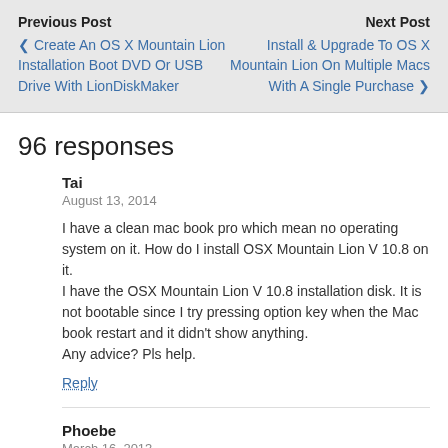Previous Post | Next Post | ❮ Create An OS X Mountain Lion Installation Boot DVD Or USB Drive With LionDiskMaker | Install & Upgrade To OS X Mountain Lion On Multiple Macs With A Single Purchase ❯
96 responses
Tai
August 13, 2014

I have a clean mac book pro which mean no operating system on it. How do I install OSX Mountain Lion V 10.8 on it.
I have the OSX Mountain Lion V 10.8 installation disk. It is not bootable since I try pressing option key when the Mac book restart and it didn't show anything.
Any advice? Pls help.

Reply
Phoebe
March 16, 2013